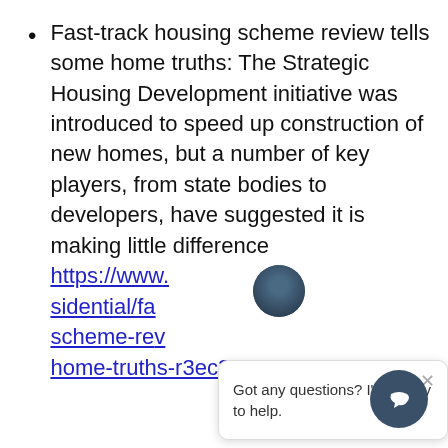Fast-track housing scheme review tells some home truths: The Strategic Housing Development initiative was introduced to speed up construction of new homes, but a number of key players, from state bodies to developers, have suggested it is making little difference https://www...sidential/fa...scheme-re...home-truths-r3ec3zz5